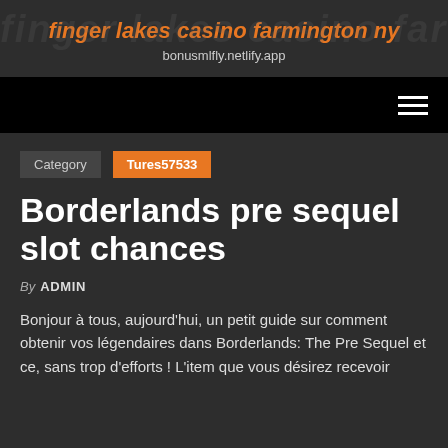finger lakes casino farmington ny
bonusmlfly.netlify.app
[Figure (other): Navigation bar with hamburger menu icon (three horizontal lines) on dark/black background]
Category   Tures57533
Borderlands pre sequel slot chances
By ADMIN
Bonjour à tous, aujourd'hui, un petit guide sur comment obtenir vos légendaires dans Borderlands: The Pre Sequel et ce, sans trop d'efforts ! L'item que vous désirez recevoir